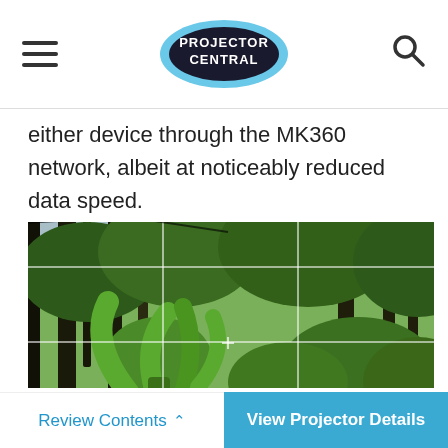PROJECTOR CENTRAL
either device through the MK360 network, albeit at noticeably reduced data speed.
[Figure (photo): A projected image of a tropical jungle scene displayed on a screen, showing banana plants and palm trees, with a white grid pattern visible on the projection surface.]
Review Contents   View Projector Details